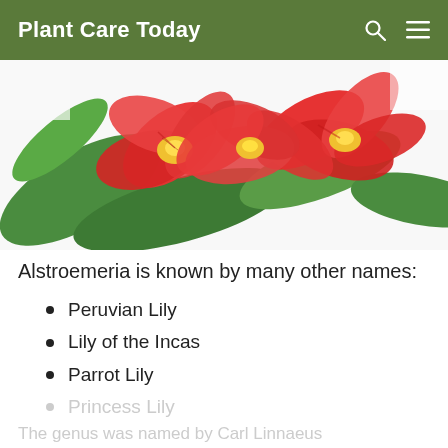Plant Care Today
[Figure (photo): Close-up photo of red and orange Alstroemeria (Peruvian Lily) flowers with green leaves on a white background.]
Alstroemeria is known by many other names:
Peruvian Lily
Lily of the Incas
Parrot Lily
Princess Lily
The genus was named by Carl Linnaeus